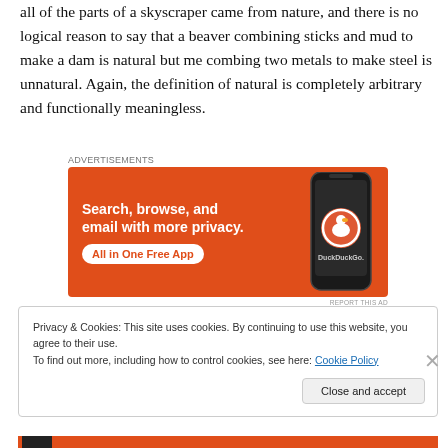all of the parts of a skyscraper came from nature, and there is no logical reason to say that a beaver combining sticks and mud to make a dam is natural but me combing two metals to make steel is unnatural. Again, the definition of natural is completely arbitrary and functionally meaningless.
[Figure (other): DuckDuckGo advertisement banner with orange background. Text reads: 'Search, browse, and email with more privacy. All in One Free App' with DuckDuckGo logo and a phone image.]
Privacy & Cookies: This site uses cookies. By continuing to use this website, you agree to their use.
To find out more, including how to control cookies, see here: Cookie Policy